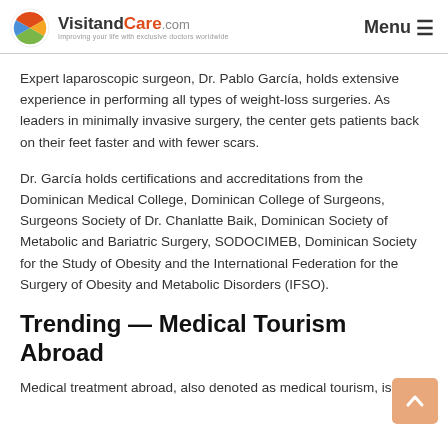VisitandCare.com — Improving your life with exclusive doctors worldwide | Menu
Expert laparoscopic surgeon, Dr. Pablo García, holds extensive experience in performing all types of weight-loss surgeries. As leaders in minimally invasive surgery, the center gets patients back on their feet faster and with fewer scars.
Dr. García holds certifications and accreditations from the Dominican Medical College, Dominican College of Surgeons, Surgeons Society of Dr. Chanlatte Baik, Dominican Society of Metabolic and Bariatric Surgery, SODOCIMEB, Dominican Society for the Study of Obesity and the International Federation for the Surgery of Obesity and Metabolic Disorders (IFSO).
Trending — Medical Tourism Abroad
Medical treatment abroad, also denoted as medical tourism, is